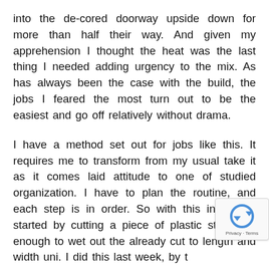into the de-cored doorway upside down for more than half their way. And given my apprehension I thought the heat was the last thing I needed adding urgency to the mix. As has always been the case with the build, the jobs I feared the most turn out to be the easiest and go off relatively without drama.
I have a method set out for jobs like this. It requires me to transform from my usual take it as it comes laid attitude to one of studied organization. I have to plan the routine, and each step is in order. So with this in mind I started by cutting a piece of plastic strip long enough to wet out the already cut to length and width uni. I did this last week, by taking a small offcut of uni and rolling it up to see how wide the piece needed to be to neatly fill the slot, it